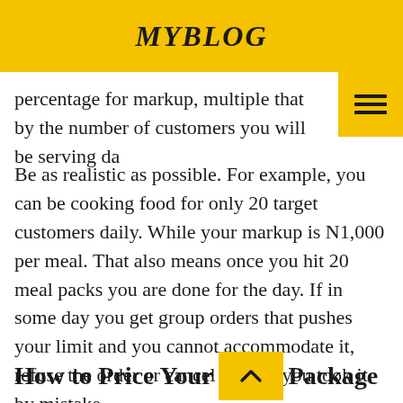MYBLOG
percentage for markup, multiple that by the number of customers you will be serving da
Be as realistic as possible. For example, you can be cooking food for only 20 target customers daily. While your markup is N1,000 per meal. That also means once you hit 20 meal packs you are done for the day. If in some day you get group orders that pushes your limit and you cannot accommodate it, refuse the order or cancel early if you took it by mistake.
How to Price Your Package